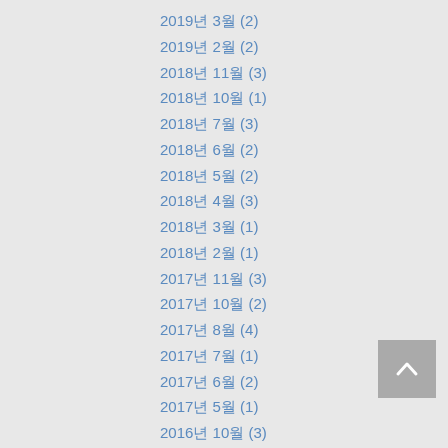2019년 3월 (2)
2019년 2월 (2)
2018년 11월 (3)
2018년 10월 (1)
2018년 7월 (3)
2018년 6월 (2)
2018년 5월 (2)
2018년 4월 (3)
2018년 3월 (1)
2018년 2월 (1)
2017년 11월 (3)
2017년 10월 (2)
2017년 8월 (4)
2017년 7월 (1)
2017년 6월 (2)
2017년 5월 (1)
2016년 10월 (3)
2016년 9월 (2)
2016년 7월 (1)
2016년 6월 (3)
2016년 5월 (2)
2016년 3월 (3)
2016년 2월 (2)